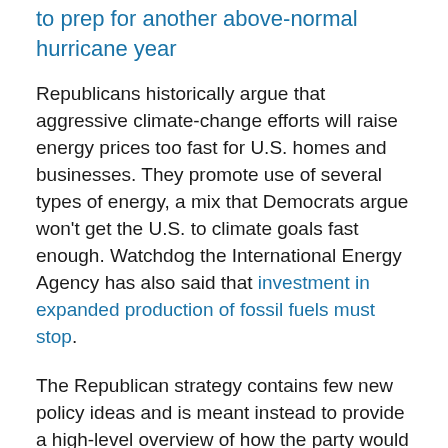to prep for another above-normal hurricane year
Republicans historically argue that aggressive climate-change efforts will raise energy prices too fast for U.S. homes and businesses. They promote use of several types of energy, a mix that Democrats argue won’t get the U.S. to climate goals fast enough. Watchdog the International Energy Agency has also said that investment in expanded production of fossil fuels must stop.
The Republican strategy contains few new policy ideas and is meant instead to provide a high-level overview of how the party would address the challenges of record-high energy prices worsened by Russia’s war in Ukraine, although while also reducing global emissions.